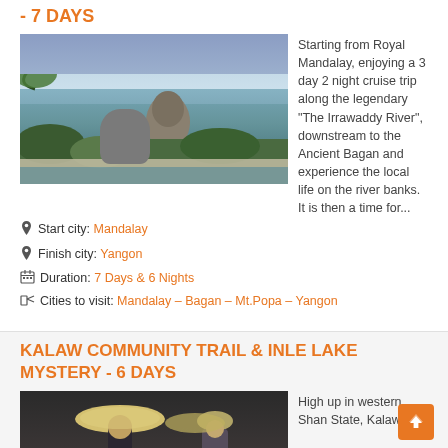- 7 DAYS
[Figure (photo): Scenic view from a hillside infinity pool overlooking the Irrawaddy river valley with lush tropical trees and a rock formation]
Starting from Royal Mandalay, enjoying a 3 day 2 night cruise trip along the legendary "The Irrawaddy River", downstream to the Ancient Bagan and experience the local life on the river banks. It is then a time for...
Start city: Mandalay
Finish city: Yangon
Duration: 7 Days & 6 Nights
Cities to visit: Mandalay – Bagan – Mt.Popa – Yangon
KALAW COMMUNITY TRAIL & INLE LAKE MYSTERY - 6 DAYS
[Figure (photo): Two people wearing traditional Vietnamese conical hats]
High up in western Shan State, Kalaw is...